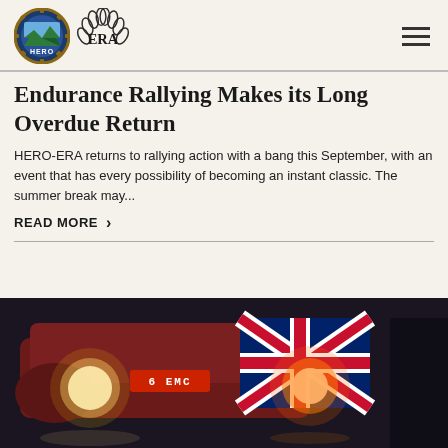[Figure (logo): HERO-ERA dual logo: circular HERO badge with landscape and ERA laurel wreath emblem]
Endurance Rallying Makes its Long Overdue Return
HERO-ERA returns to rallying action with a bang this September, with an event that has every possibility of becoming an instant classic. The summer break may...
READ MORE >
[Figure (photo): Classic rally car with headlights on, a Union Jack flag draped over it, photographed in dark indoor setting]